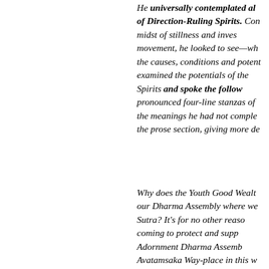He universally contemplated all of Direction-Ruling Spirits. Contemplating amidst of stillness and investigating movement, he looked to see—what are the causes, conditions and potentials? He examined the potentials of the Direction-Ruling Spirits and spoke the following: He pronounced four-line stanzas of verse to fill in the meanings he had not completely told in the prose section, giving more detail.
Why does the Youth Good Wealth come to our Dharma Assembly where we lecture the Sutra? It's for no other reason than coming to protect and support the Flower Adornment Dharma Assembly, the Avatamsaka Way-place in this world, to be able to see the Youth Good Wealth who has very deep affinities with him.